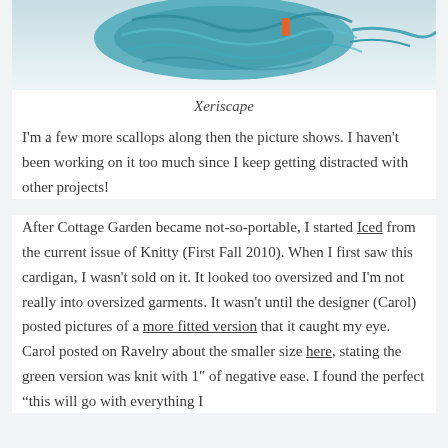[Figure (photo): Partial photo of yarn/knitting in teal/turquoise color with an orange clip or marker, viewed from above on a light background.]
Xeriscape
I'm a few more scallops along then the picture shows. I haven't been working on it too much since I keep getting distracted with other projects!
After Cottage Garden became not-so-portable, I started Iced from the current issue of Knitty (First Fall 2010). When I first saw this cardigan, I wasn't sold on it. It looked too oversized and I'm not really into oversized garments. It wasn't until the designer (Carol) posted pictures of a more fitted version that it caught my eye. Carol posted on Ravelry about the smaller size here, stating the green version was knit with 1" of negative ease. I found the perfect "this will go with everything I